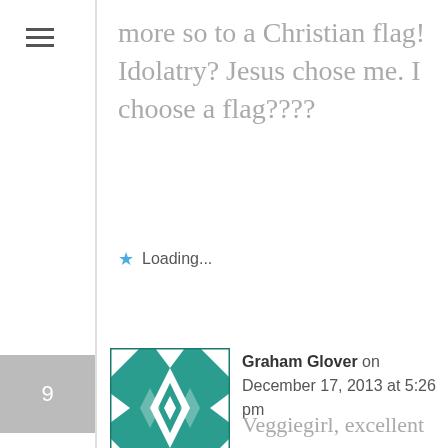more so to a Christian flag! Idolatry? Jesus chose me. I choose a flag????
Loading...
Graham Glover on December 17, 2013 at 5:26 pm
Veggiegirl, excellent comments and observations. I wanted to include my thoughts about the “Christian flag”, but the